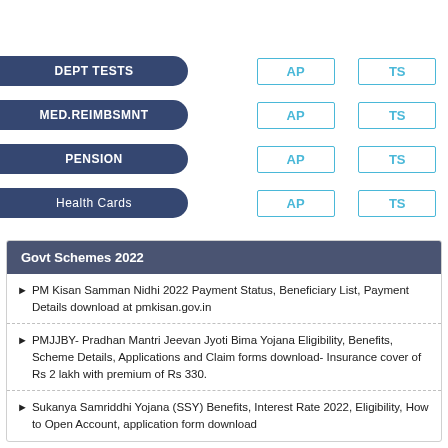| Category | AP | TS |
| --- | --- | --- |
| DEPT TESTS | AP | TS |
| MED.REIMBSMNT | AP | TS |
| PENSION | AP | TS |
| Health Cards | AP | TS |
Govt Schemes 2022
PM Kisan Samman Nidhi 2022 Payment Status, Beneficiary List, Payment Details download at pmkisan.gov.in
PMJJBY- Pradhan Mantri Jeevan Jyoti Bima Yojana Eligibility, Benefits, Scheme Details, Applications and Claim forms download- Insurance cover of Rs 2 lakh with premium of Rs 330.
Sukanya Samriddhi Yojana (SSY) Benefits, Interest Rate 2022, Eligibility, How to Open Account, application form download